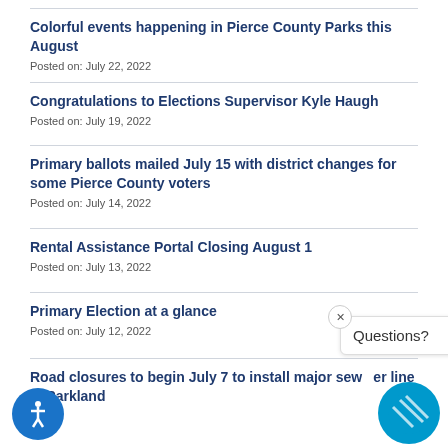Colorful events happening in Pierce County Parks this August
Posted on: July 22, 2022
Congratulations to Elections Supervisor Kyle Haugh
Posted on: July 19, 2022
Primary ballots mailed July 15 with district changes for some Pierce County voters
Posted on: July 14, 2022
Rental Assistance Portal Closing August 1
Posted on: July 13, 2022
Primary Election at a glance
Posted on: July 12, 2022
Road closures to begin July 7 to install major sewer line in Parkland